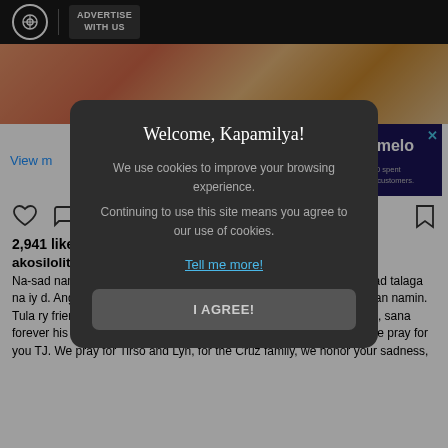ABS-CBN | ADVERTISE WITH US
[Figure (photo): Partial photo showing warm-toned background with what appears to be a person in pink/salmon colored clothing and an animal]
[Figure (infographic): Advertisement banner: NOW AVAILABLE FOR A LIMITED TIME | pomelo | $1 = P60 | Applies to first $500 spent in 45 days for new customers.]
View m
2,941 likes
akosilolitsol
Na-sad nam lll at Lyn na si TJ, Salve kanina lang daw madali kaka-sad talaga na iy d. Ang bait-bait pa nam Janine. Si TJ hindi pu naghahanap apitan namin. Tula ry friendly at magalang. S ito. We pray that God will welcome TJ, sana forever his memories, his happy ones will always be remembered. We pray for you TJ. We pray for Tirso and Lyn, for the Cruz family, we honor your sadness,
Welcome, Kapamilya!

We use cookies to improve your browsing experience.

Continuing to use this site means you agree to our use of cookies.

Tell me more!

I AGREE!